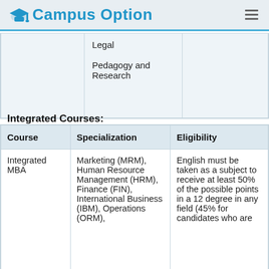Campus Option
|  |  |  |
| --- | --- | --- |
|  | Legal
Pedagogy and Research |  |
Integrated Courses:
| Course | Specialization | Eligibility |
| --- | --- | --- |
| Integrated MBA | Marketing (MRM), Human Resource Management (HRM), Finance (FIN), International Business (IBM), Operations (ORM), | English must be taken as a subject to receive at least 50% of the possible points in a 12 degree in any field (45% for candidates who are |